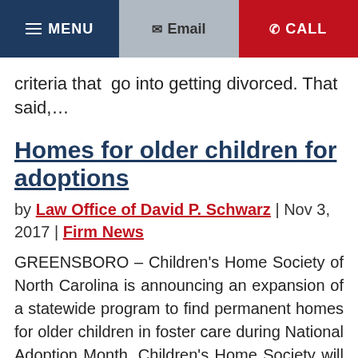MENU | Email | CALL
criteria that  go into getting divorced. That said,…
Homes for older children for adoptions
by Law Office of David P. Schwarz | Nov 3, 2017 | Firm News
GREENSBORO – Children's Home Society of North Carolina is announcing an expansion of a statewide program to find permanent homes for older children in foster care during National Adoption Month. Children's Home Society will also be providing the expanded child-focused…